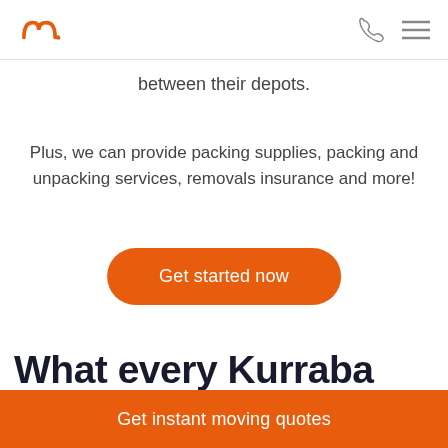Muval logo, phone icon, menu icon
between their depots.
Plus, we can provide packing supplies, packing and unpacking services, removals insurance and more!
Get started now
What every Kurraba Point removelist wants you to
Get instant moving quotes